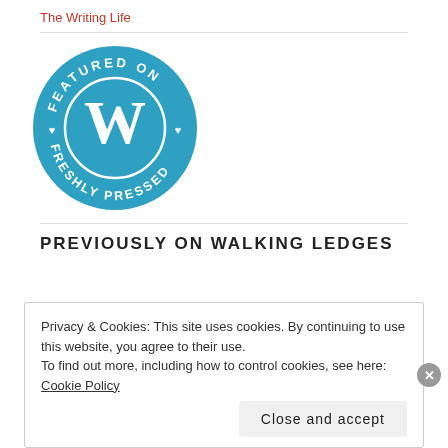The Writing Life
[Figure (logo): WordPress 'Featured on Freshly Pressed' circular badge in blue and white, with the WordPress W logo in the center and text curved around the circle reading 'FEATURED ON' at the top and 'FRESHLY PRESSED' at the bottom, with heart symbols on the sides.]
PREVIOUSLY ON WALKING LEDGES
Privacy & Cookies: This site uses cookies. By continuing to use this website, you agree to their use.
To find out more, including how to control cookies, see here: Cookie Policy
Close and accept